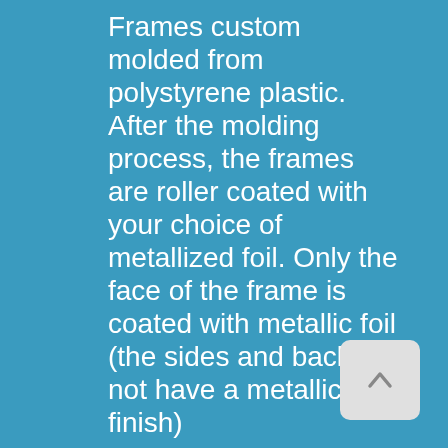Frames custom molded from polystyrene plastic. After the molding process, the frames are roller coated with your choice of metallized foil. Only the face of the frame is coated with metallic foil (the sides and back do not have a metallic finish)
[Figure (other): A scroll-to-top button — a light gray rounded rectangle with an upward-pointing chevron arrow icon]